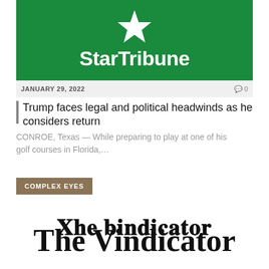[Figure (logo): StarTribune logo on green background with white star above white text 'StarTribune']
JANUARY 29, 2022   0
Trump faces legal and political headwinds as he considers return
CONROE, Texas — While preparing to play at one of his golf courses in Florida,…
COMPLEX EYES
[Figure (logo): The Vindicator logo in black old English / blackletter typeface]